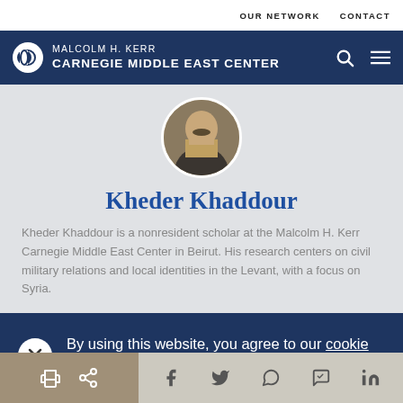OUR NETWORK   CONTACT
[Figure (logo): Malcolm H. Kerr Carnegie Middle East Center logo with navigation icons (search, hamburger menu)]
[Figure (photo): Circular profile photo of Kheder Khaddour]
Kheder Khaddour
Kheder Khaddour is a nonresident scholar at the Malcolm H. Kerr Carnegie Middle East Center in Beirut. His research centers on civil military relations and local identities in the Levant, with a focus on Syria.
By using this website, you agree to our cookie policy.
Share icons: print, link, Facebook, Twitter, WhatsApp, Messenger, LinkedIn